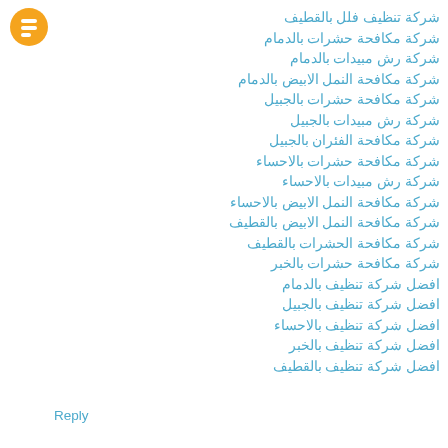[Figure (logo): Blogger orange circle logo icon]
شركة تنظيف فلل بالقطيف
شركة مكافحة حشرات بالدمام
شركة رش مبيدات بالدمام
شركة مكافحة النمل الابيض بالدمام
شركة مكافحة حشرات بالجبيل
شركة رش مبيدات بالجبيل
شركة مكافحة الفئران بالجبيل
شركة مكافحة حشرات بالاحساء
شركة رش مبيدات بالاحساء
شركة مكافحة النمل الابيض بالاحساء
شركة مكافحة النمل الابيض بالقطيف
شركة مكافحة الحشرات بالقطيف
شركة مكافحة حشرات بالخبر
افضل شركة تنظيف بالدمام
افضل شركة تنظيف بالجبيل
افضل شركة تنظيف بالاحساء
افضل شركة تنظيف بالخبر
افضل شركة تنظيف بالقطيف
Reply